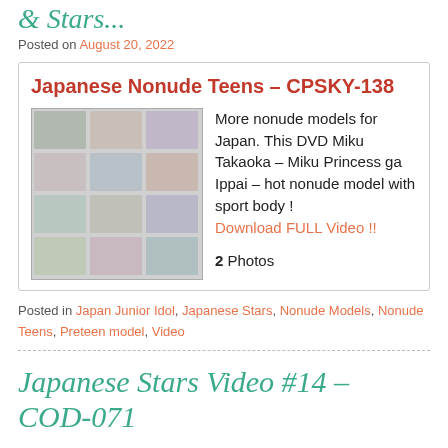& Stars...
Posted on August 20, 2022
Japanese Nonude Teens - CPSKY-138
[Figure (photo): Grid collage of multiple photos]
More nonude models for Japan. This DVD Miku Takaoka - Miku Princess ga Ippai - hot nonude model with sport body ! Download FULL Video !! 2 Photos
Posted in Japan Junior Idol, Japanese Stars, Nonude Models, Nonude Teens, Preteen model, Video
Japanese Stars Video #14 – COD-071